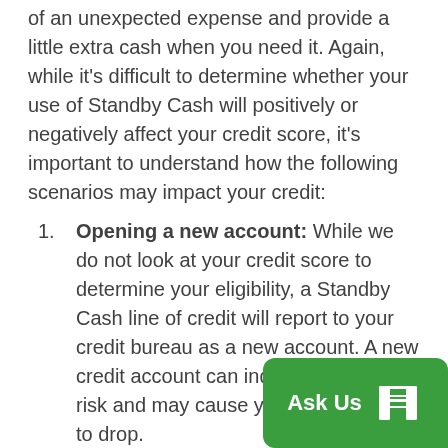of an unexpected expense and provide a little extra cash when you need it. Again, while it's difficult to determine whether your use of Standby Cash will positively or negatively affect your credit score, it's important to understand how the following scenarios may impact your credit:
Opening a new account: While we do not look at your credit score to determine your eligibility, a Standby Cash line of credit will report to your credit bureau as a new account. A new credit account can indicate increased risk and may cause your credit score to drop.
Payment History: Missed or late payments can have a negative [impact on] your credit score. Lenders want [to see that] you can pay back debt on time when they
[Figure (other): Green chat widget button with 'Ask Us' text and a stylized house/building icon on the right side, overlaid on bottom-right corner of the page]